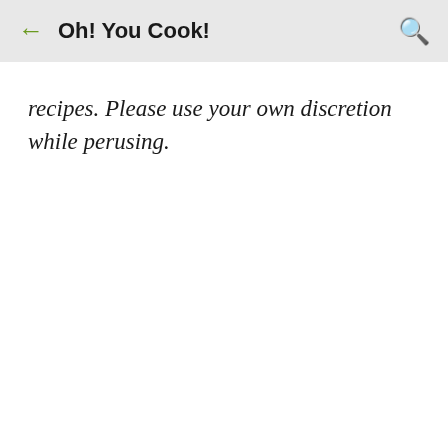Oh! You Cook!
recipes. Please use your own discretion while perusing.